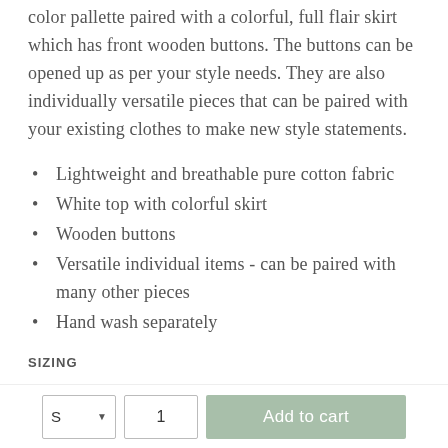color pallette paired with a colorful, full flair skirt which has front wooden buttons. The buttons can be opened up as per your style needs. They are also individually versatile pieces that can be paired with your existing clothes to make new style statements.
Lightweight and breathable pure cotton fabric
White top with colorful skirt
Wooden buttons
Versatile individual items - can be paired with many other pieces
Hand wash separately
SIZING